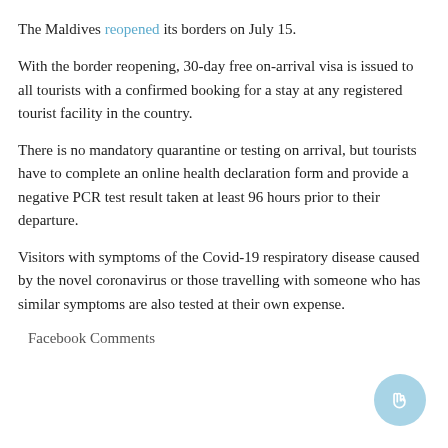The Maldives reopened its borders on July 15.
With the border reopening, 30-day free on-arrival visa is issued to all tourists with a confirmed booking for a stay at any registered tourist facility in the country.
There is no mandatory quarantine or testing on arrival, but tourists have to complete an online health declaration form and provide a negative PCR test result taken at least 96 hours prior to their departure.
Visitors with symptoms of the Covid-19 respiratory disease caused by the novel coronavirus or those travelling with someone who has similar symptoms are also tested at their own expense.
Facebook Comments